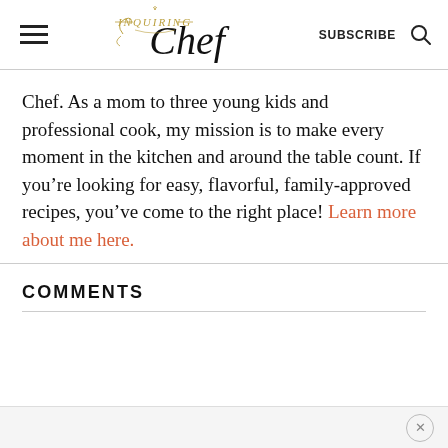Inquiring Chef — SUBSCRIBE
Chef. As a mom to three young kids and professional cook, my mission is to make every moment in the kitchen and around the table count. If you're looking for easy, flavorful, family-approved recipes, you've come to the right place! Learn more about me here.
COMMENTS